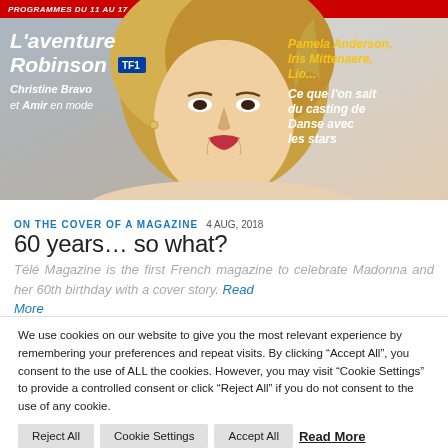[Figure (photo): Magazine cover of Télé Magazine showing a blonde woman (Madonna) on the cover. Red top banner reads 'PROGRAMMES DU 11 AU 17 AOÛT 2018'. Left side: 'L'aventure Robinson TF1 Christine Bravo et Amir en mode'. Right side: 'Pamela Anderson, Iris Mittenaere, Lio... Ce que l'on sait du casting de Danse avec les stars']
ON THE COVER OF A MAGAZINE  4 AUG, 2018
60 years… so what?
Télé Magazine is the first French magazine to celebrate Madonna and her 60th birthday with a cover story. Read More
We use cookies on our website to give you the most relevant experience by remembering your preferences and repeat visits. By clicking "Accept All", you consent to the use of ALL the cookies. However, you may visit "Cookie Settings" to provide a controlled consent or click "Reject All" if you do not consent to the use of any cookie.